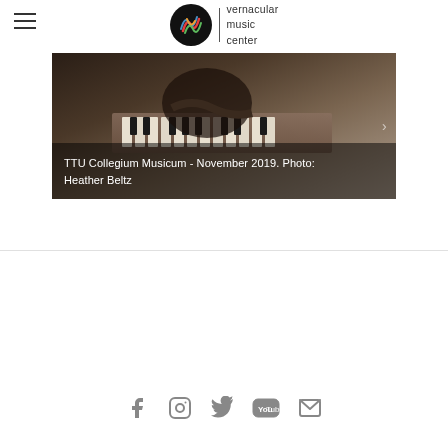vernacular music center
[Figure (photo): Person playing a keyboard/harpsichord instrument, close-up of hands on keys, dark background - TTU Collegium Musicum November 2019, Photo: Heather Beltz]
TTU Collegium Musicum - November 2019. Photo: Heather Beltz
Social media icons: Facebook, Instagram, Twitter, YouTube, Email